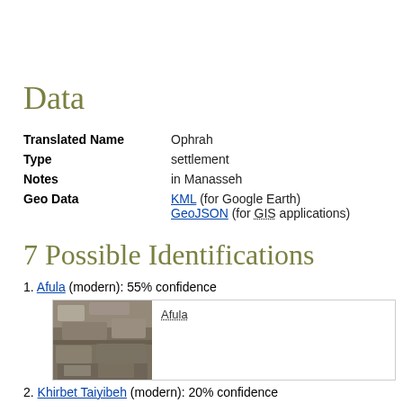Data
| Translated Name | Ophrah |
| Type | settlement |
| Notes | in Manasseh |
| Geo Data | KML (for Google Earth) GeoJSON (for GIS applications) |
7 Possible Identifications
1. Afula (modern): 55% confidence
[Figure (photo): Photo of stone ruins with caption 'Afula']
2. Khirbet Taiyibeh (modern): 20% confidence
[Figure (photo): Photo thumbnail at bottom of page]